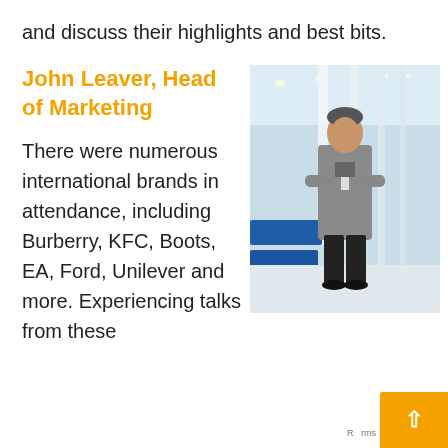and discuss their highlights and best bits.
John Leaver, Head of Marketing
[Figure (photo): Man in grey blazer and black trousers standing with arms crossed in a large venue with blue seats and white structural columns]
There were numerous international brands in attendance, including Burberry, KFC, Boots, EA, Ford, Unilever and more. Experiencing talks from these